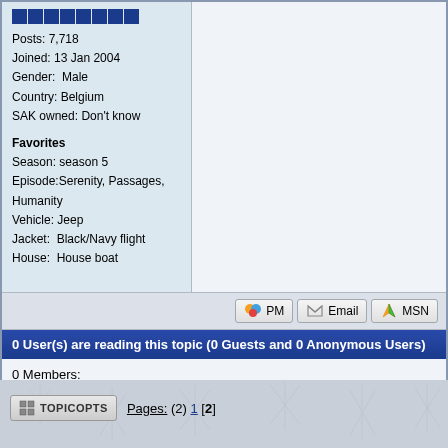Posts: 7,718
Joined: 13 Jan 2004
Gender: Male
Country: Belgium
SAK owned: Don't know

Favorites
Season: season 5
Episode:Serenity, Passages, Humanity
Vehicle: Jeep
Jacket: Black/Navy flight
House: House boat
PM | Email | MSN
0 User(s) are reading this topic (0 Guests and 0 Anonymous Users)
0 Members:
TOPIC OPTS   Pages: (2) 1 [2]